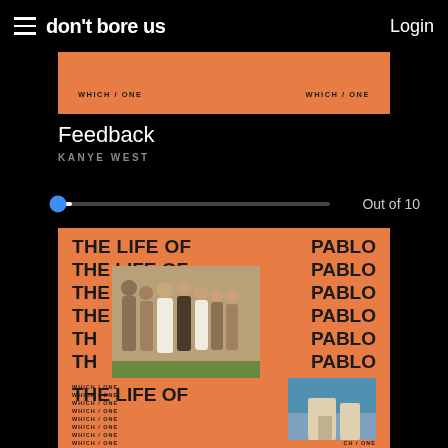don't bore us   Login
[Figure (illustration): Partial view of Kanye West The Life of Pablo album cover (orange background with WHICH / ONE text repeated)]
Feedback
KANYE WEST
Out of 10
[Figure (illustration): The Life of Pablo album cover by Kanye West — orange background with bold repeated THE LIFE OF PABLO text and wedding photo inset, WHICH / ONE text rows at bottom]